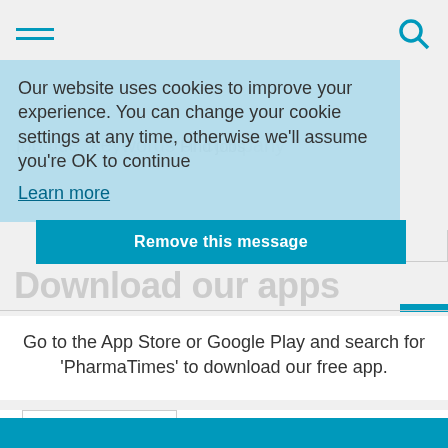Navigation bar with hamburger menu and search icon
Our website uses cookies to improve your experience. You can change your cookie settings at any time, otherwise we'll assume you're OK to continue
Learn more
Remove this message
Download our apps
Go to the App Store or Google Play and search for 'PharmaTimes' to download our free app.
[Figure (screenshot): PharmaTimes magazine app screenshot showing the PharmaTimes logo and magazine cover]